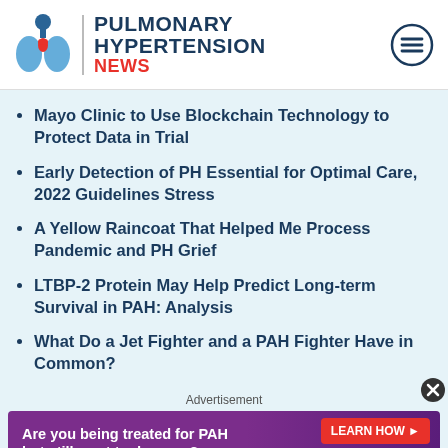[Figure (logo): Pulmonary Hypertension News logo with lungs icon, brand name in navy and red]
Mayo Clinic to Use Blockchain Technology to Protect Data in Trial
Early Detection of PH Essential for Optimal Care, 2022 Guidelines Stress
A Yellow Raincoat That Helped Me Process Pandemic and PH Grief
LTBP-2 Protein May Help Predict Long-term Survival in PAH: Analysis
What Do a Jet Fighter and a PAH Fighter Have in Common?
Advertisement
[Figure (infographic): Advertisement banner: purple background, text 'Are you being treated for PAH but still want to do more?' with red LEARN HOW button and footnote PAH=pulmonary arterial hypertension. US/ORE/0464]